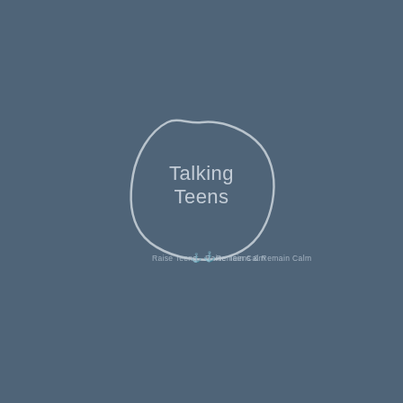[Figure (logo): Talking Teens logo: a hand-drawn circle in light grey/white containing the text 'Talking Teens' in a light grey sans-serif font, with a tagline below reading 'Raise Teens & Remain Calm' with a small amber/orange anchor icon, all centered on a muted blue-grey background.]